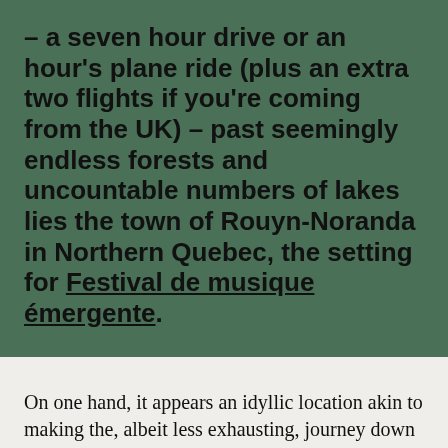– a seven hour drive or an hour's plane ride (plus an extra two flights if you're coming from the UK) – past seemingly endless forests and uncountable numbers of lakes lies the town of Rouyn-Noranda in Northern Quebec, the setting for Festival de musique émergente.
On one hand, it appears an idyllic location akin to making the, albeit less exhausting, journey down the end of the road to End of the Road. Imagine a festival in the wilds of